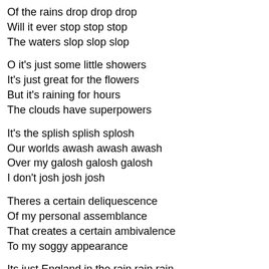Of the rains drop drop drop
Will it ever stop stop stop
The waters slop slop slop
O it's just some little showers
It's just great for the flowers
But it's raining for hours
The clouds have superpowers
It's the splish splish splosh
Our worlds awash awash awash
Over my galosh galosh galosh
I don't josh josh josh
Theres a certain deliquescence
Of my personal assemblance
That creates a certain ambivalence
To my soggy appearance
Its just England in the rain rain rain
Pouring down the window pane pane pane
When the rains on the plain plain plain
It's the rain Spain Spain Spain